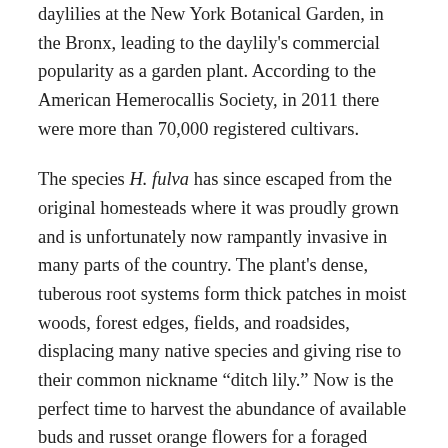daylilies at the New York Botanical Garden, in the Bronx, leading to the daylily's commercial popularity as a garden plant. According to the American Hemerocallis Society, in 2011 there were more than 70,000 registered cultivars.
The species H. fulva has since escaped from the original homesteads where it was proudly grown and is unfortunately now rampantly invasive in many parts of the country. The plant's dense, tuberous root systems form thick patches in moist woods, forest edges, fields, and roadsides, displacing many native species and giving rise to their common nickname “ditch lily.” Now is the perfect time to harvest the abundance of available buds and russet orange flowers for a foraged snack or this high-summer appetizer. (As with any foraged plant, make sure to properly identify it before ingesting.)
Cornmeal-Crusted Daylily Fritters